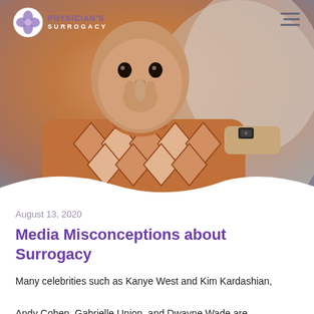[Figure (photo): A young baby/toddler wearing a brown and white diamond-pattern knit sweater, sucking on their hand, with an adult's arm visible in the background. Physician's Surrogacy logo in top-left corner and hamburger menu icon in top-right corner.]
August 13, 2020
Media Misconceptions about Surrogacy
Many celebrities such as Kanye West and Kim Kardashian, Andy Cohen, Gabrielle Union, and Dwayne Wade are